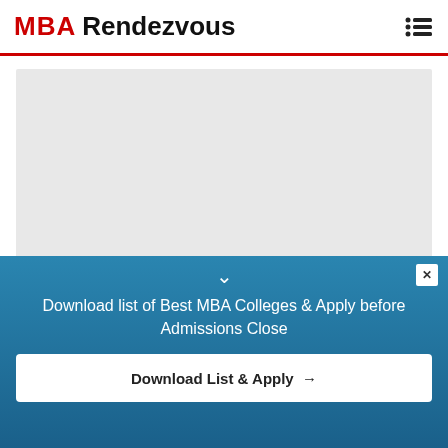MBA Rendezvous
[Figure (photo): Gray placeholder image for article thumbnail]
MBA Rendezvous Poll Is Out On Negative Marking In Exams
Load more
Download list of Best MBA Colleges & Apply before Admissions Close
Download List & Apply →